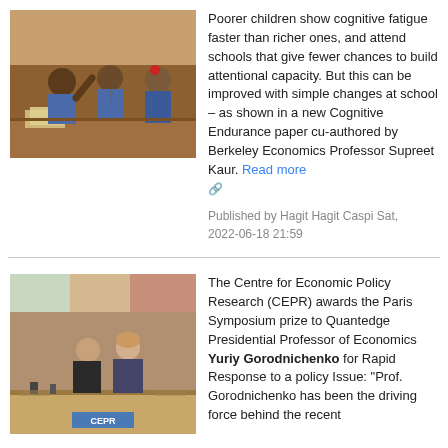[Figure (photo): School children in blue uniforms sitting at desks in a classroom, one child raising hand]
Poorer children show cognitive fatigue faster than richer ones, and attend schools that give fewer chances to build attentional capacity. But this can be improved with simple changes at school – as shown in a new Cognitive Endurance paper cu-authored by Berkeley Economics Professor Supreet Kaur. Read more
Published by Hagit Hagit Caspi Sat, 2022-06-18 21:59
[Figure (photo): Two people standing at a podium in a lecture hall with CEPR branding, one presenting to the other]
The Centre for Economic Policy Research (CEPR) awards the Paris Symposium prize to Quantedge Presidential Professor of Economics Yuriy Gorodnichenko for Rapid Response to a policy Issue: "Prof. Gorodnichenko has been the driving force behind the recent